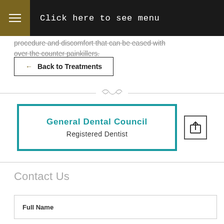Click here to see menu
procedure and discomfort that can be eased with over the counter painkillers.
← Back to Treatments
[Figure (logo): General Dental Council Registered Dentist badge with teal border]
Contact Us
Full Name